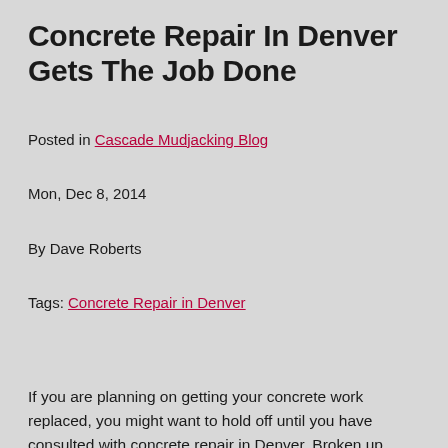Concrete Repair In Denver Gets The Job Done
Posted in Cascade Mudjacking Blog
Mon, Dec 8, 2014
By Dave Roberts
Tags: Concrete Repair in Denver
If you are planning on getting your concrete work replaced, you might want to hold off until you have consulted with concrete repair in Denver. Broken up concrete will have to be addressed as soon as possible